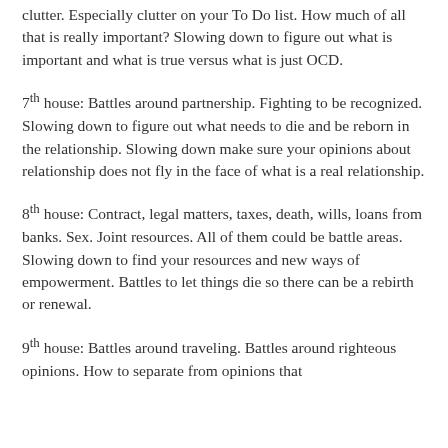clutter. Especially clutter on your To Do list. How much of all that is really important? Slowing down to figure out what is important and what is true versus what is just OCD.
7th house: Battles around partnership. Fighting to be recognized. Slowing down to figure out what needs to die and be reborn in the relationship. Slowing down make sure your opinions about relationship does not fly in the face of what is a real relationship.
8th house: Contract, legal matters, taxes, death, wills, loans from banks. Sex. Joint resources. All of them could be battle areas. Slowing down to find your resources and new ways of empowerment. Battles to let things die so there can be a rebirth or renewal.
9th house: Battles around traveling. Battles around righteous opinions. How to separate from opinions that